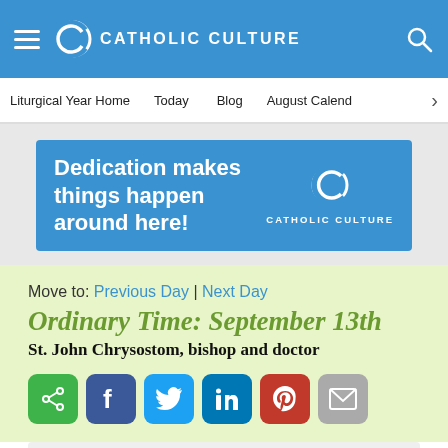CATHOLIC CULTURE
Liturgical Year Home | Today | Blog | August Calendar
[Figure (infographic): Blue advertisement banner reading: Dedication makes things happen around here! with Catholic Culture logo on the right]
Move to: Previous Day | Next Day
Ordinary Time: September 13th
St. John Chrysostom, bishop and doctor
[Figure (infographic): Row of social share buttons: share (green), Facebook (blue), Twitter (light blue), LinkedIn (blue), Pinterest (red), email (grey)]
[Figure (photo): Bottom portion of a green sweatshirt/t-shirt on a light grey background]